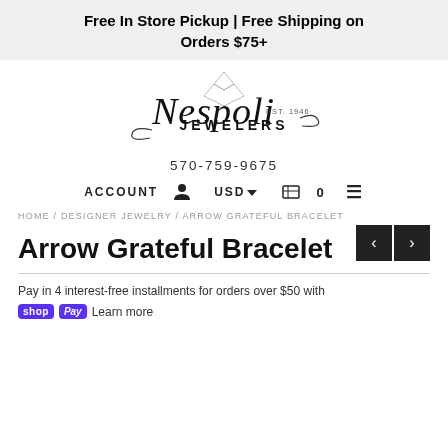Free In Store Pickup | Free Shipping on Orders $75+
[Figure (logo): Nespoli Jewelers cursive logo with diamond icon, Est. 1946]
570-759-9675
ACCOUNT  USD  0  ≡
HOME / DESIGNER JEWELRY / ARROW GRATEFUL BRACELET
Arrow Grateful Bracelet
Pay in 4 interest-free installments for orders over $50 with
shop Pay  Learn more